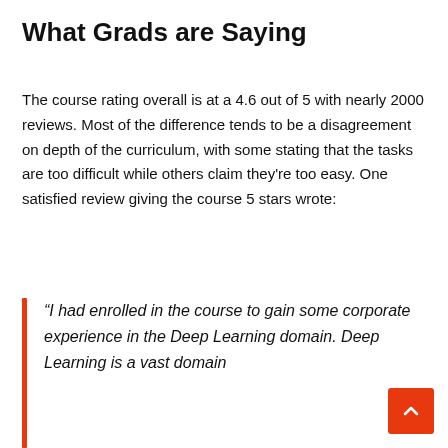What Grads are Saying
The course rating overall is at a 4.6 out of 5 with nearly 2000 reviews. Most of the difference tends to be a disagreement on depth of the curriculum, with some stating that the tasks are too difficult while others claim they're too easy. One satisfied review giving the course 5 stars wrote:
“I had enrolled in the course to gain some corporate experience in the Deep Learning domain. Deep Learning is a vast domain